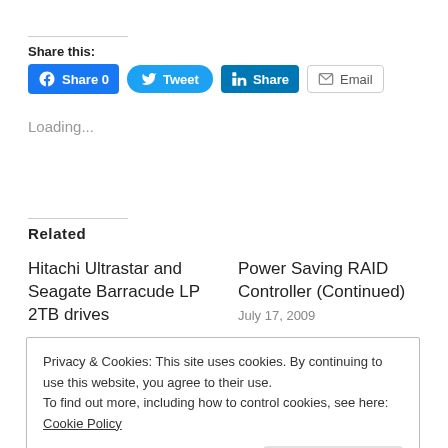Share this:
[Figure (infographic): Social share buttons: Facebook Share 0, Tweet, LinkedIn Share, Email]
Loading...
Related
Hitachi Ultrastar and Seagate Barracude LP 2TB drives
Power Saving RAID Controller (Continued)
July 17, 2009
Privacy & Cookies: This site uses cookies. By continuing to use this website, you agree to their use.
To find out more, including how to control cookies, see here: Cookie Policy
Close and accept